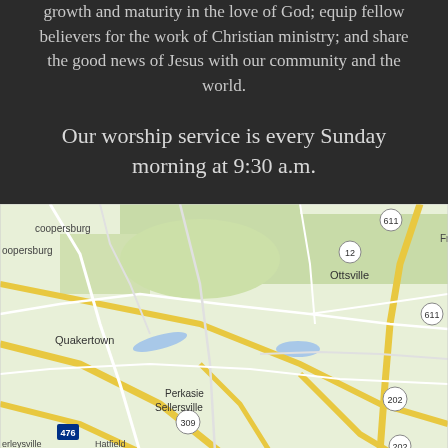growth and maturity in the love of God; equip fellow believers for the work of Christian ministry; and share the good news of Jesus with our community and the world.
Our worship service is every Sunday morning at 9:30 a.m.
[Figure (map): Google Maps screenshot showing area around Quakertown, Perkasie, Sellersville, Doylestown, Ottsville, Frenchtown, Stockton, New Hope, Lahaska in Pennsylvania/New Jersey region. Roads 611, 29, 202, 309, 476, 413 visible.]